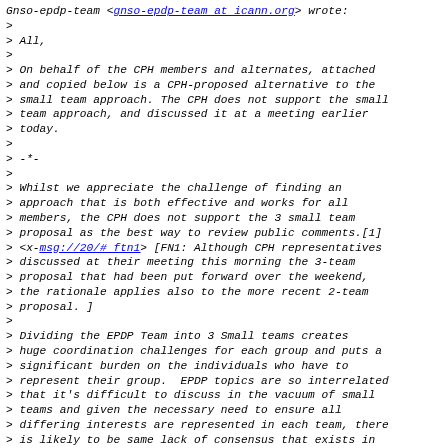Gnso-epdp-team <gnso-epdp-team at icann.org> wrote:
>
> All,
>
> On behalf of the CPH members and alternates, attached and copied below is a CPH-proposed alternative to the small team approach. The CPH does not support the small team approach, and discussed it at a meeting earlier today.
>
> -*-
>
> Whilst we appreciate the challenge of finding an approach that is both effective and works for all members, the CPH does not support the 3 small team proposal as the best way to review public comments.[1] <x-msg://20/# ftn1> [FN1: Although CPH representatives discussed at their meeting this morning the 3-team proposal that had been put forward over the weekend, the rationale applies also to the more recent 2-team proposal. ]
>
> Dividing the EPDP Team into 3 Small teams creates huge coordination challenges for each group and puts a significant burden on the individuals who have to represent their group.  EPDP topics are so interrelated that it's difficult to discuss in the vacuum of small teams and given the necessary need to ensure all differing interests are represented in each team, there is likely to be same lack of consensus that exists in the larger group. Furthermore, this